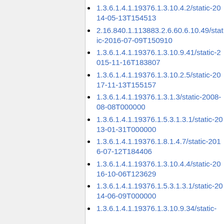1.3.6.1.4.1.19376.1.3.10.4.2/static-2014-05-13T154513
2.16.840.1.113883.2.6.60.6.10.49/static-2016-07-09T150910
1.3.6.1.4.1.19376.1.3.10.9.41/static-2015-11-16T183807
1.3.6.1.4.1.19376.1.3.10.2.5/static-2017-11-13T155157
1.3.6.1.4.1.19376.1.3.1.3/static-2008-08-08T000000
1.3.6.1.4.1.19376.1.5.3.1.3.1/static-2013-01-31T000000
1.3.6.1.4.1.19376.1.8.1.4.7/static-2016-07-12T184406
1.3.6.1.4.1.19376.1.3.10.4.4/static-2016-10-06T123629
1.3.6.1.4.1.19376.1.5.3.1.3.1/static-2014-06-09T000000
1.3.6.1.4.1.19376.1.3.10.9.34/static-